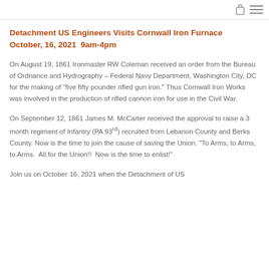[bag icon] [menu icon]
Detachment US Engineers Visits Cornwall Iron Furnace October, 16, 2021  9am-4pm
On August 19, 1861 Ironmaster RW Coleman received an order from the Bureau of Ordnance and Hydrography – Federal Navy Department, Washington City, DC for the making of “five fifty pounder rifled gun iron.” Thus Cornwall Iron Works was involved in the production of rifled cannon iron for use in the Civil War.
On September 12, 1861 James M. McCarter received the approval to raise a 3 month regiment of Infantry (PA 93rd) recruited from Lebanon County and Berks County. Now is the time to join the cause of saving the Union. “To Arms, to Arms, to Arms.  All for the Union!!  Now is the time to enlist!”
Join us on October 16, 2021 when the Detachment of US...